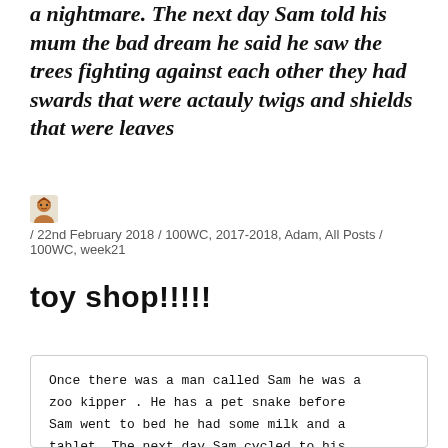a nightmare. The next day Sam told his mum the bad dream he said he saw the trees fighting against each other they had swards that were actauly twigs and shields that were leaves
/ 22nd February 2018 / 100WC, 2017-2018, Adam, All Posts / 100WC, week21
toy shop!!!!!
Once there was a man called Sam he was a zoo kipper . He has a pet snake before Sam went to bed he had some milk and a tablet. The next day Sam cycled to his work he works at the toy shop he makes red fabric and sow it to the toy. Once Sam cut his hand and shot of like a pullet to his house to get a plaster and